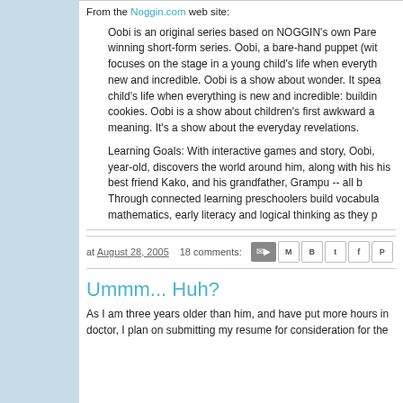From the Noggin.com web site:
Oobi is an original series based on NOGGIN's own Pare winning short-form series. Oobi, a bare-hand puppet (wit focuses on the stage in a young child's life when everyth new and incredible. Oobi is a show about wonder. It spea child's life when everything is new and incredible: buildin cookies. Oobi is a show about children's first awkward a meaning. It's a show about the everyday revelations.
Learning Goals: With interactive games and story, Oobi, year-old, discovers the world around him, along with his his best friend Kako, and his grandfather, Grampu -- all b Through connected learning preschoolers build vocabula mathematics, early literacy and logical thinking as they p
at August 28, 2005   18 comments:
Ummm... Huh?
As I am three years older than him, and have put more hours in doctor, I plan on submitting my resume for consideration for the